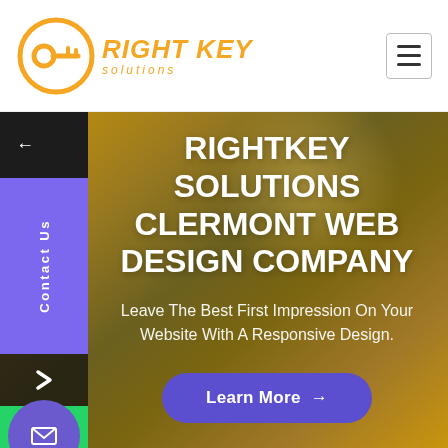[Figure (logo): Right Key Solutions logo — orange circular key icon with orange italic text 'RIGHT KEY' and 'solutions']
[Figure (screenshot): Website hero section with golden-brown gradient background, sidebar with contact icons, large white headline 'RIGHTKEY SOLUTIONS CLERMONT WEB DESIGN COMPANY', subtitle text, and 'Learn More →' button]
RIGHTKEY SOLUTIONS CLERMONT WEB DESIGN COMPANY
Leave The Best First Impression On Your Website With A Responsive Design.